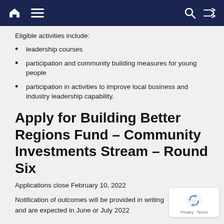Navigation bar with home, menu, search, and shuffle icons
Eligible activities include:
leadership courses
participation and community building measures for young people
participation in activities to improve local business and industry leadership capability.
Apply for Building Better Regions Fund – Community Investments Stream – Round Six
Applications close February 10, 2022
Notification of outcomes will be provided in writing and are expected in June or July 2022